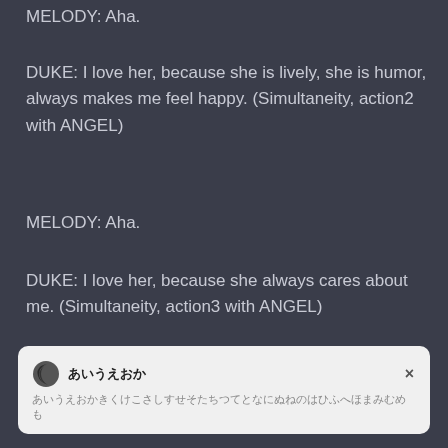MELODY: Aha.
DUKE: I love her, because she is lively, she is humor, always makes me feel happy. (Simultaneity, action2 with ANGEL)
MELODY: Aha.
DUKE: I love her, because she always cares about me. (Simultaneity, action3 with ANGEL)
[Figure (screenshot): Notification overlay with moon icon, title in Japanese characters, body text with repeated characters, and a close button (×)]
DUKE: I love her, because I feel pound to be with